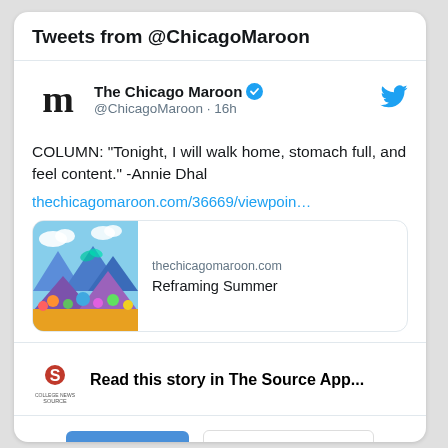Tweets from @ChicagoMaroon
The Chicago Maroon @ChicagoMaroon · 16h
COLUMN: "Tonight, I will walk home, stomach full, and feel content." -Annie Dhal thechicagomaroon.com/36669/viewpoin…
[Figure (screenshot): Link preview card showing thechicagomaroon.com / Reframing Summer with a colorful illustrated thumbnail]
Read this story in The Source App...
Open App    Continue in browser